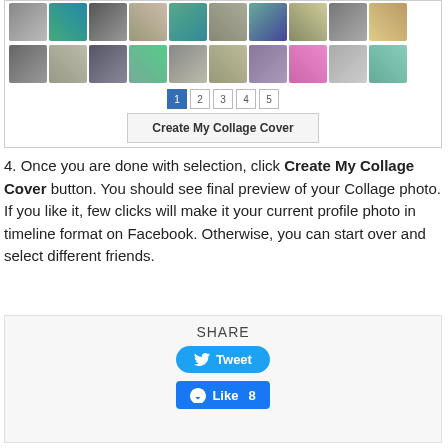[Figure (screenshot): Screenshot of a photo collage selection UI showing two rows of blurred profile photo thumbnails, pagination numbers (1 2 3 4 5), and a 'Create My Collage Cover' button]
4. Once you are done with selection, click Create My Collage Cover button. You should see final preview of your Collage photo. If you like it, few clicks will make it your current profile photo in timeline format on Facebook. Otherwise, you can start over and select different friends.
[Figure (screenshot): Share widget box containing SHARE heading, a Twitter Tweet button, and a Facebook Like button with count of 8]